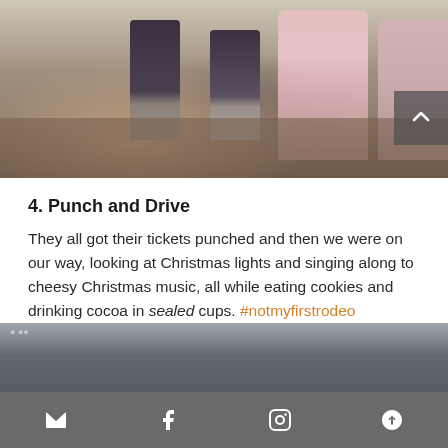[Figure (photo): Outdoor photo showing boots/legs of adults and a small girl in a pink jacket and yellow boots standing near a vehicle, on mulched ground with autumn leaves]
4. Punch and Drive
They all got their tickets punched and then we were on our way, looking at Christmas lights and singing along to cheesy Christmas music, all while eating cookies and drinking cocoa in sealed cups. #notmyfirstrodeo
[Figure (photo): Bottom partial photo of a car interior/exterior, dark tones]
Email | Facebook | Instagram | Pinterest icons